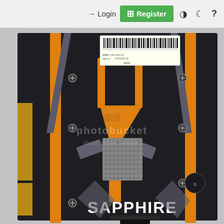Login  Register
[Figure (photo): Photograph of a Sapphire brand graphics card (GPU) backplate showing the black and dark grey metal backplate with orange/gold accent stripes in a Y-shaped design pattern, silver mesh thermal pad area, PCIe gold connector edge on the left, various screws, and 'SAPPHIRE' branding text. A white barcode sticker is visible at the top. The Photobucket watermark overlay reads 'photobucket' and 'must store.share'.]